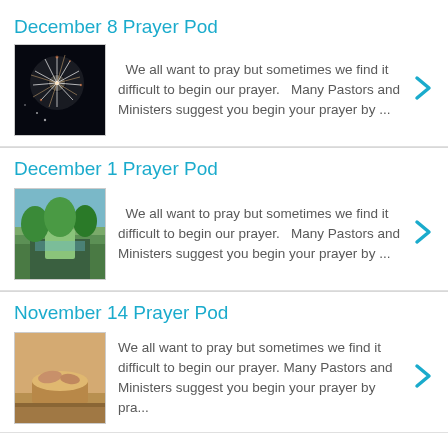December 8 Prayer Pod
[Figure (photo): Fireworks burst with white and orange sparks against a dark night sky]
We all want to pray but sometimes we find it difficult to begin our prayer.  Many Pastors and Ministers suggest you begin your prayer by ...
December 1 Prayer Pod
[Figure (photo): A peaceful nature scene with a river or pond surrounded by green trees]
We all want to pray but sometimes we find it difficult to begin our prayer.  Many Pastors and Ministers suggest you begin your prayer by ...
November 14 Prayer Pod
[Figure (photo): Hands playing or resting on a drum, warm tan and brown tones]
We all want to pray but sometimes we find it difficult to begin our prayer. Many Pastors and Ministers suggest you begin your prayer by pra...